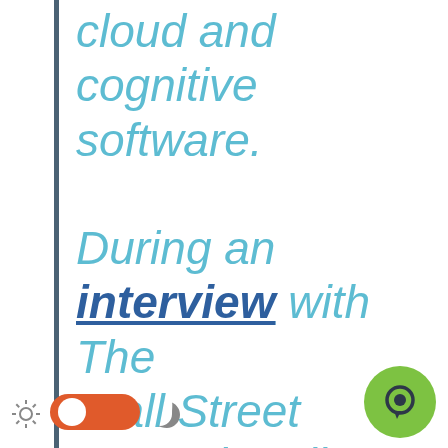cloud and cognitive software. During an interview with The Wall Street Journal earlier this month, Dr. Krishna noted